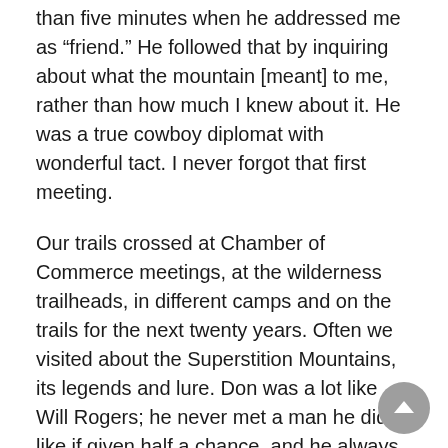than five minutes when he addressed me as “friend.” He followed that by inquiring about what the mountain [meant] to me, rather than how much I knew about it. He was a true cowboy diplomat with wonderful tact. I never forgot that first meeting.
Our trails crossed at Chamber of Commerce meetings, at the wilderness trailheads, in different camps and on the trails for the next twenty years. Often we visited about the Superstition Mountains, its legends and lure. Don was a lot like Will Rogers; he never met a man he didn’t like if given half a chance, and he always had some wonderfully humorous or witty remark to make about cowboys, horses or life on the trail. It was always a pleasure to talk to Don. He always had time for a friend, visitor or even a stranger.